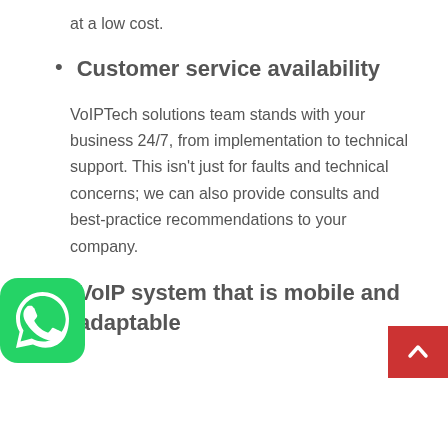at a low cost.
Customer service availability
VoIPTech solutions team stands with your business 24/7, from implementation to technical support. This isn't just for faults and technical concerns; we can also provide consults and best-practice recommendations to your company.
VoIP system that is mobile and adaptable
[Figure (logo): WhatsApp green icon with speech bubble and phone symbol]